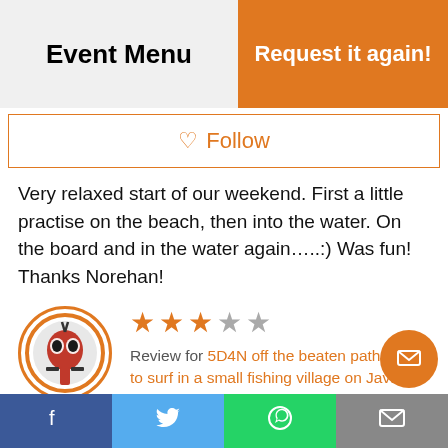Event Menu | Request it again!
♡ Follow
Very relaxed start of our weekend. First a little practise on the beach, then into the water. On the board and in the water again.....;) Was fun! Thanks Norehan!
Calvin — ★★★☆☆ — Review for 5D4N off the beaten path: Learn to surf in a small fishing village on Java -Aug — August 16, 2018
Overally, the trip experience was superb but personally felt the SG$560 cost charges sh
f  t  WhatsApp  mail